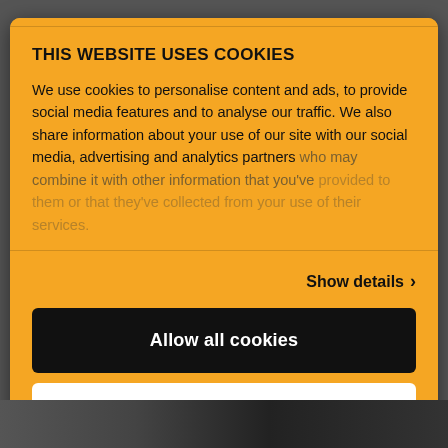THIS WEBSITE USES COOKIES
We use cookies to personalise content and ads, to provide social media features and to analyse our traffic. We also share information about your use of our site with our social media, advertising and analytics partners who may combine it with other information that you've
Show details >
Allow all cookies
Customize >